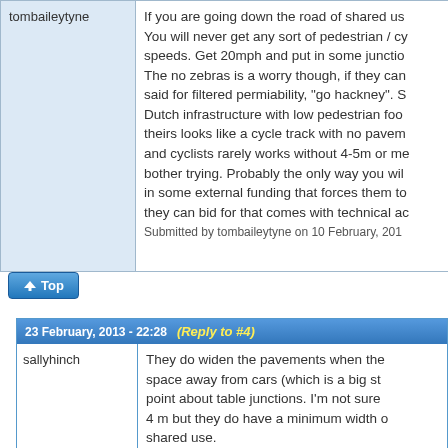tombaileytyne
If you are going down the road of shared us... You will never get any sort of pedestrian / cy... speeds. Get 20mph and put in some junctio... The no zebras is a worry though, if they can... said for filtered permiability, "go hackney". S... Dutch infrastructure with low pedestrian foo... theirs looks like a cycle track with no pavem... and cyclists rarely works without 4-5m or me... bother trying. Probably the only way you wil... in some external funding that forces them to... they can bid for that comes with technical ac... Submitted by tombaileytyne on 10 February, 201...
23 February, 2013 - 22:28
(Reply to #4)
sallyhinch
They do widen the pavements when the... space away from cars (which is a big st... point about table junctions. I'm not sure... 4 m but they do have a minimum width ... shared use.